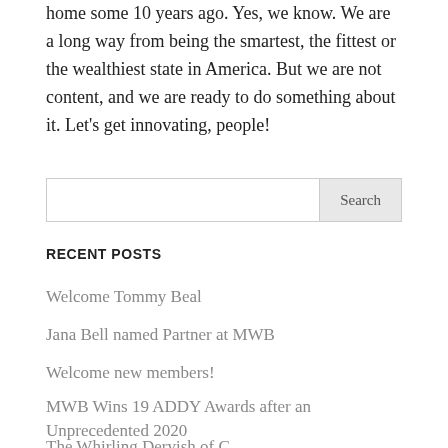home some 10 years ago. Yes, we know. We are a long way from being the smartest, the fittest or the wealthiest state in America. But we are not content, and we are ready to do something about it. Let’s get innovating, people!
Search
RECENT POSTS
Welcome Tommy Beal
Jana Bell named Partner at MWB
Welcome new members!
MWB Wins 19 ADDY Awards after an Unprecedented 2020
The Whirling Dervish of C